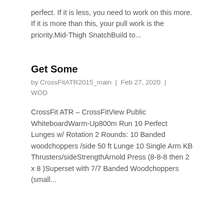perfect. If it is less, you need to work on this more. If it is more than this, your pull work is the priority.Mid-Thigh SnatchBuild to...
Get Some
by CrossFitATR2015_main | Feb 27, 2020 | WOD
CrossFit ATR – CrossFitView Public WhiteboardWarm-Up800m Run 10 Perfect Lunges w/ Rotation 2 Rounds: 10 Banded woodchoppers /side 50 ft Lunge 10 Single Arm KB Thrusters/sideStrengthArnold Press (8-8-8 then 2 x 8 )Superset with 7/7 Banded Woodchoppers (small...